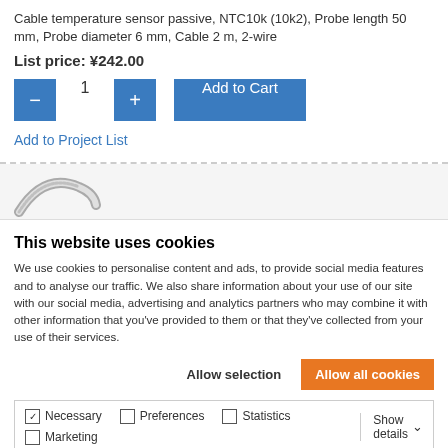Cable temperature sensor passive, NTC10k (10k2), Probe length 50 mm, Probe diameter 6 mm, Cable 2 m, 2-wire
List price: ¥242.00
Add to Project List
[Figure (illustration): Partial view of a probe/sensor product image, showing curved metallic probe tip]
This website uses cookies
We use cookies to personalise content and ads, to provide social media features and to analyse our traffic. We also share information about your use of our site with our social media, advertising and analytics partners who may combine it with other information that you've provided to them or that they've collected from your use of their services.
Allow selection
Allow all cookies
Necessary  Preferences  Statistics  Marketing  Show details